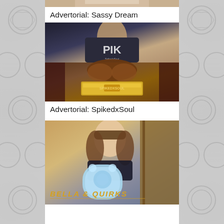[Figure (photo): Top cropped photo of a person, partially visible at the top of the center column]
Advertorial: Sassy Dream
[Figure (photo): Fashion photo collage showing a woman in a dark top with 'PIK' lettering and another image of a woman with a gold clutch bag with text watermark 'SpikedxSoul']
Advertorial: SpikedxSoul
[Figure (photo): Photo of a young woman holding a light blue bag with text overlay reading 'BELLA & QUIRKS']